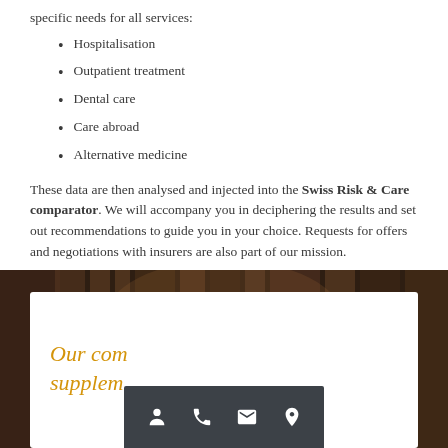specific needs for all services:
Hospitalisation
Outpatient treatment
Dental care
Care abroad
Alternative medicine
These data are then analysed and injected into the Swiss Risk & Care comparator. We will accompany you in deciphering the results and set out recommendations to guide you in your choice. Requests for offers and negotiations with insurers are also part of our mission.
[Figure (photo): Dark blurred background image, likely wood or library shelving, with a white card overlay partially visible and an orange italic heading 'Our co... supple...' and a dark toolbar with person, phone, envelope, and location icons.]